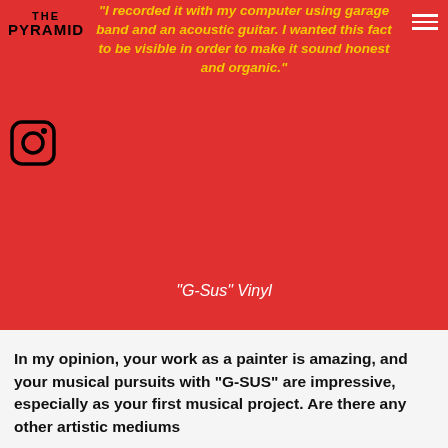THE PYRAMID
“I recorded it with my computer using garage band and an acoustic guitar. I wanted this fact to be visible in order to make it sound honest and organic.”
[Figure (logo): Instagram logo icon (circle with rounded square outline and dot)]
“G-Sus” Vinyl
In my opinion, your work as a painter is amazing, and your musical pursuits with “G-SUS” are impressive, especially as your first musical project. Are there any other artistic mediums